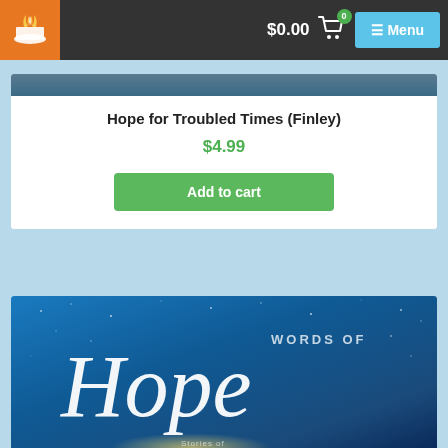$0.00 [cart] Menu
Hope for Troubled Times (Finley)
$4.99
Add to cart
[Figure (illustration): Words of Hope book cover with blue starry background and large stylized 'Hope' script text]